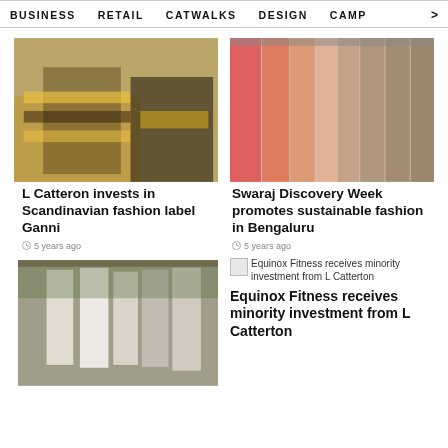BUSINESS   RETAIL   CATWALKS   DESIGN   CAMP  >
[Figure (photo): Two models wearing striped yellow and black sweaters and dark outfits]
L Catteron invests in Scandinavian fashion label Ganni
5 years ago
[Figure (photo): Colorful dresses hanging on a rack from pink to orange to patterned brown]
Swaraj Discovery Week promotes sustainable fashion in Bengaluru
5 years ago
[Figure (photo): White and light-colored garments hanging outdoors on a rack]
Equinox Fitness receives minority investment from L Catterton
Equinox Fitness receives minority investment from L Catterton